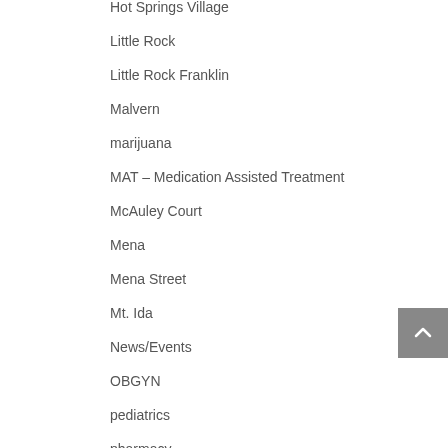Hot Springs Village
Little Rock
Little Rock Franklin
Malvern
marijuana
MAT – Medication Assisted Treatment
McAuley Court
Mena
Mena Street
Mt. Ida
News/Events
OBGYN
pediatrics
pharmacy
Physical Therapy
Podiatry
PrEP
Primary Care
Provider
ReGynerate
review